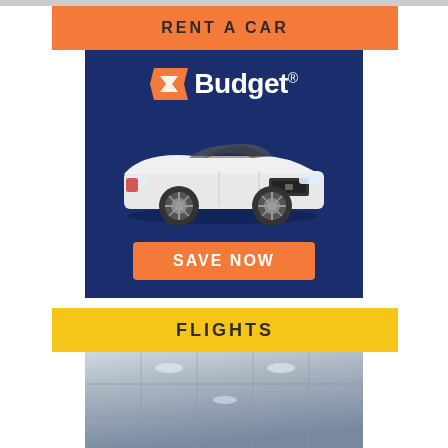RENT A CAR
[Figure (illustration): Budget car rental advertisement on dark blue background featuring the Budget logo with orange chevron icon and a white Ford Mustang convertible sports car, with an orange 'SAVE NOW' button at the bottom]
FLIGHTS
[Figure (photo): Interior view of an airplane cabin ceiling panels, shot from below looking upward]